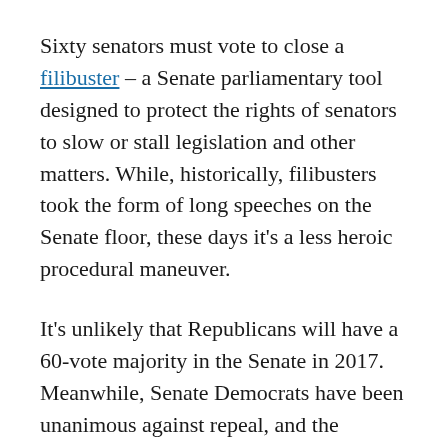Sixty senators must vote to close a filibuster – a Senate parliamentary tool designed to protect the rights of senators to slow or stall legislation and other matters. While, historically, filibusters took the form of long speeches on the Senate floor, these days it's a less heroic procedural maneuver.
It's unlikely that Republicans will have a 60-vote majority in the Senate in 2017. Meanwhile, Senate Democrats have been unanimous against repeal, and the number of Democrats in the chamber